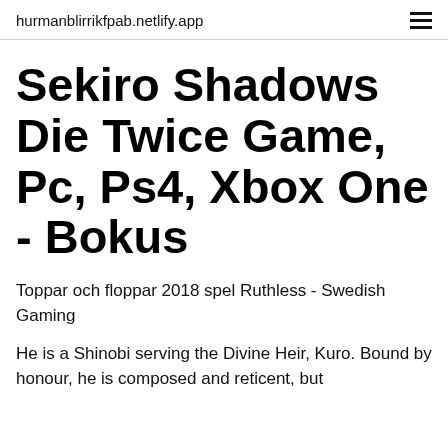hurmanblirrikfpab.netlify.app
Sekiro Shadows Die Twice Game, Pc, Ps4, Xbox One - Bokus
Toppar och floppar 2018 spel Ruthless - Swedish Gaming
He is a Shinobi serving the Divine Heir, Kuro. Bound by honour, he is composed and reticent, but